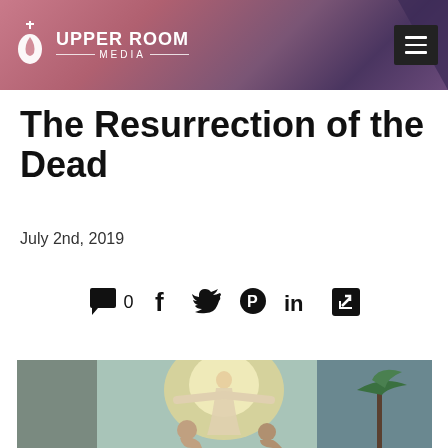UPPER ROOM MEDIA
The Resurrection of the Dead
July 2nd, 2019
[Figure (infographic): Social sharing icons row: comment bubble (0), Facebook (f), Twitter bird, Pinterest (P), LinkedIn (in), share/external link icon]
[Figure (illustration): Classical religious painting of the Resurrection of Christ — figure with arms outstretched, robes, angelic light, other figures below]